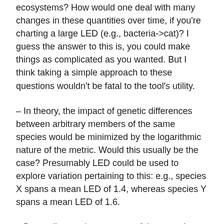ecosystems? How would one deal with many changes in these quantities over time, if you're charting a large LED (e.g., bacteria->cat)? I guess the answer to this is, you could make things as complicated as you wanted. But I think taking a simple approach to these questions wouldn't be fatal to the tool's utility.
– In theory, the impact of genetic differences between arbitrary members of the same species would be minimized by the logarithmic nature of the metric. Would this usually be the case? Presumably LED could be used to explore variation pertaining to this: e.g., species X spans a mean LED of 1.4, whereas species Y spans a mean LED of 1.6.
– Depending on the progress of tissue and functional domain gene expression analysis and what inherent and epistemological messiness lies therein, this could